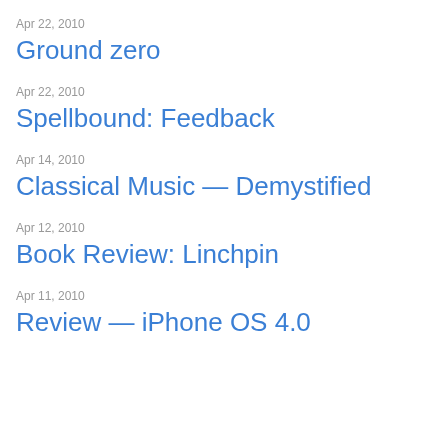Apr 22, 2010
Ground zero
Apr 22, 2010
Spellbound: Feedback
Apr 14, 2010
Classical Music — Demystified
Apr 12, 2010
Book Review: Linchpin
Apr 11, 2010
Review — iPhone OS 4.0